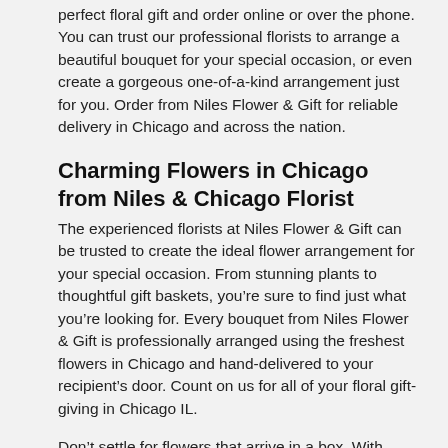perfect floral gift and order online or over the phone. You can trust our professional florists to arrange a beautiful bouquet for your special occasion, or even create a gorgeous one-of-a-kind arrangement just for you. Order from Niles Flower & Gift for reliable delivery in Chicago and across the nation.
Charming Flowers in Chicago from Niles & Chicago Florist
The experienced florists at Niles Flower & Gift can be trusted to create the ideal flower arrangement for your special occasion. From stunning plants to thoughtful gift baskets, you’re sure to find just what you’re looking for. Every bouquet from Niles Flower & Gift is professionally arranged using the freshest flowers in Chicago and hand-delivered to your recipient’s door. Count on us for all of your floral gift-giving in Chicago IL.
Don’t settle for flowers that arrive in a box. With Niles Flower & Gift, your flowers will be hand-arranged and delivered to Chicago or anywhere nationwide. Our fresh flowers are expertly arranged by our professional florists to give each gift that special, personal touch you’re looking for. Trust Niles Flower & Gift in Niles for bouquets that will brighten anyone’s day!